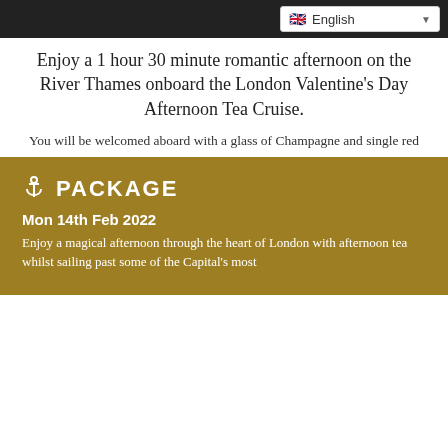English
Enjoy a 1 hour 30 minute romantic afternoon on the River Thames onboard the London Valentine's Day Afternoon Tea Cruise.
You will be welcomed aboard with a glass of Champagne and single red rose. As we set sail, enjoy a selection of sandwiches and mini pastries followed by unlimited tea and coffee, accompanied by live music.
Cruising along the River Thames, through the heart of London, past famous landmarks such as the Houses of Parliament, the London Eye and Tower Bridge is simply mesmerising and creates a truly romantic experience.
PACKAGE
Mon 14th Feb 2022
Enjoy a magical afternoon through the heart of London with afternoon tea whilst sailing past some of the Capital's most